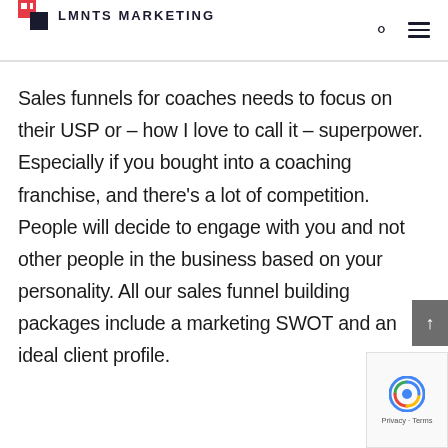LMNTS MARKETING
Sales funnels for coaches needs to focus on their USP or – how I love to call it – superpower. Especially if you bought into a coaching franchise, and there's a lot of competition. People will decide to engage with you and not other people in the business based on your personality. All our sales funnel building packages include a marketing SWOT and an ideal client profile.